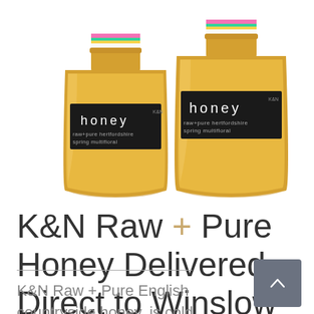[Figure (photo): Two glass jars of K&N raw + pure Hertfordshire spring multifloral honey with black labels, photographed on a white background]
K&N Raw + Pure Honey Delivered Direct to Winslow
K&N Raw + Pure English countryside honey, is cold